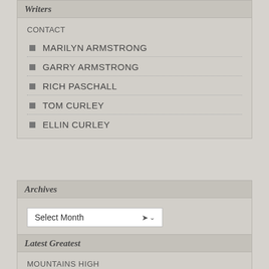Writers
CONTACT
MARILYN ARMSTRONG
GARRY ARMSTRONG
RICH PASCHALL
TOM CURLEY
ELLIN CURLEY
Archives
Select Month
Latest Greatest
MOUNTAINS HIGH